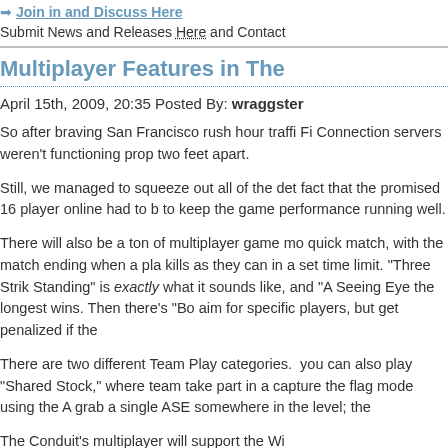Join in and Discuss Here
Submit News and Releases Here and Contact
Multiplayer Features in The
April 15th, 2009, 20:35 Posted By: wraggster
So after braving San Francisco rush hour traffi... Fi Connection servers weren't functioning prop... two feet apart.
Still, we managed to squeeze out all of the det... fact that the promised 16 player online had to b... to keep the game performance running well.
There will also be a ton of multiplayer game mo... quick match, with the match ending when a pla... kills as they can in a set time limit. "Three Strik... Standing" is exactly what it sounds like, and "A... Seeing Eye the longest wins. Then there's "Bo... aim for specific players, but get penalized if the...
There are two different Team Play categories. ... you can also play "Shared Stock," where team... take part in a capture the flag mode using the A... grab a single ASE somewhere in the level; the...
The Conduit's multiplayer will support the Wi...